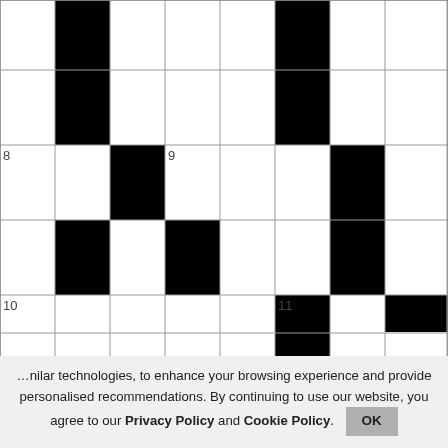[Figure (other): Crossword puzzle grid with black and white squares, numbered clue positions (8, 9, 10, 11, 12, 13, 14, 15, 16, 17, 18, 21) and a red play button overlay in the center]
[Figure (photo): Photo of a group of people, prominent man in white shirt with glasses waving hand, others surrounding him, some wearing masks]
nilar technologies, to enhance your browsing experience and provide personalised recommendations. By continuing to use our website, you agree to our Privacy Policy and Cookie Policy.